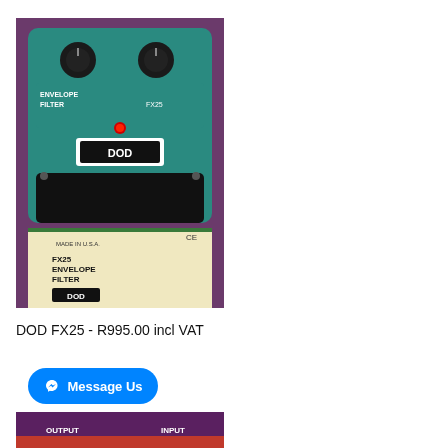[Figure (photo): DOD FX25 Envelope Filter guitar effects pedal in teal/green color with two black knobs, red LED indicator light, DOD logo, and original box labeled FX25 Envelope Filter]
DOD FX25 - R995.00 incl VAT
[Figure (other): Facebook Messenger Message Us button in blue]
[Figure (photo): Partial view of another guitar effects pedal showing OUTPUT and INPUT labels]